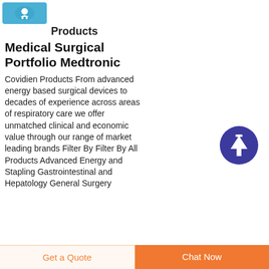[Figure (logo): Blue rounded rectangle with white chat/headset icon]
Products
Medical Surgical Portfolio Medtronic
Covidien Products From advanced energy based surgical devices to decades of experience across areas of respiratory care we offer unmatched clinical and economic value through our range of market leading brands Filter By Filter By All Products Advanced Energy and Stapling Gastrointestinal and Hepatology General Surgery
[Figure (other): Dark blue circular up-arrow scroll-to-top button]
Get a Quote  Chat Now